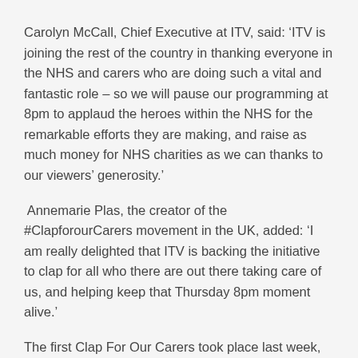Carolyn McCall, Chief Executive at ITV, said: ‘ITV is joining the rest of the country in thanking everyone in the NHS and carers who are doing such a vital and fantastic role – so we will pause our programming at 8pm to applaud the heroes within the NHS for the remarkable efforts they are making, and raise as much money for NHS charities as we can thanks to our viewers’ generosity.’
Annemarie Plas, the creator of the #ClapforourCarers movement in the UK, added: ‘I am really delighted that ITV is backing the initiative to clap for all who there are out there taking care of us, and helping keep that Thursday 8pm moment alive.’
The first Clap For Our Carers took place last week, with people across the nation standing outside their doors for a round of applause for NHS staff.